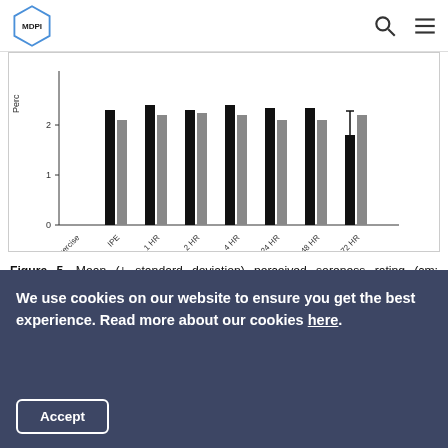MDPI
[Figure (grouped-bar-chart): Perceived soreness rating over time]
Figure 5. Mean (± standard deviation) perceived soreness rating (cm; centimeters) pre-eccentric exercise, immediate post (IPE), 1, 2, 4, 24, 48 and 72 hours (HR) for resistance trained men supplementing with branched-chain amino acids (BCAA) or placebo (PLCB) (n = 20). * = significantly different from pre-exercise for both BCAA and PLCB (n <
We use cookies on our website to ensure you get the best experience. Read more about our cookies here.
Accept